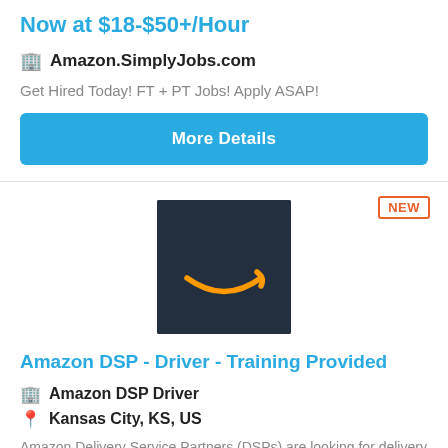Now at $18-$50+/Hour
Amazon.SimplyJobs.com
Get Hired Today! FT + PT Jobs! Apply ASAP!
More Details
[Figure (logo): Amazon logo — white smile/arrow on dark navy background]
Amazon DSP - Driver - Training Provided
Amazon DSP Driver
Kansas City, KS, US
Amazon Delivery Service Partners (DSPs) are looking for delivery associates (drivers) to help